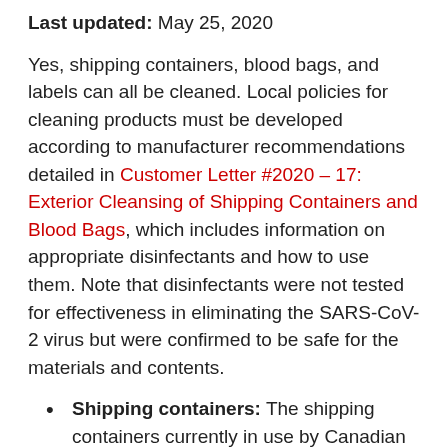Last updated: May 25, 2020
Yes, shipping containers, blood bags, and labels can all be cleaned. Local policies for cleaning products must be developed according to manufacturer recommendations detailed in Customer Letter #2020 – 17: Exterior Cleansing of Shipping Containers and Blood Bags, which includes information on appropriate disinfectants and how to use them. Note that disinfectants were not tested for effectiveness in eliminating the SARS-CoV-2 virus but were confirmed to be safe for the materials and contents.
Shipping containers: The shipping containers currently in use by Canadian Blood Services may be wiped with disinfectant. Disinfectants should be applied